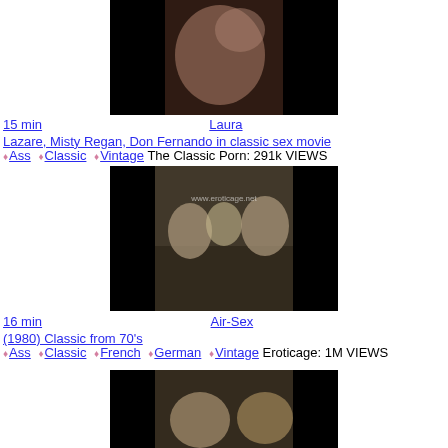[Figure (photo): Video thumbnail showing a woman in an intimate scene, dark background]
15 min  Laura Lazare, Misty Regan, Don Fernando in classic sex movie
♦Ass ♦Classic ♦Vintage The Classic Porn: 291k VIEWS
[Figure (photo): Video thumbnail showing people seated inside an airplane cabin, www.eroticage.net watermark]
16 min  Air-Sex (1980) Classic from 70's
♦Ass ♦Classic ♦French ♦German ♦Vintage Eroticage: 1M VIEWS
[Figure (photo): Partial video thumbnail showing people, cropped at bottom of page]